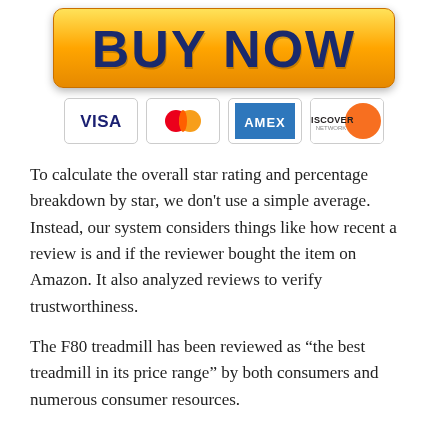[Figure (other): BUY NOW button with yellow-orange gradient background and dark blue bold text]
[Figure (other): Payment method icons: VISA, MasterCard, AMEX, Discover]
To calculate the overall star rating and percentage breakdown by star, we don't use a simple average. Instead, our system considers things like how recent a review is and if the reviewer bought the item on Amazon. It also analyzed reviews to verify trustworthiness.
The F80 treadmill has been reviewed as “the best treadmill in its price range” by both consumers and numerous consumer resources.